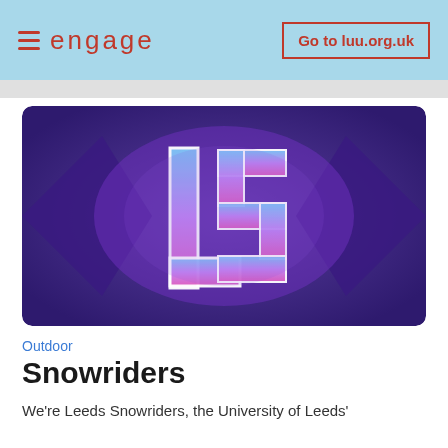engage   Go to luu.org.uk
[Figure (logo): Leeds Snowriders club logo — stylized 'LS' letters in white/blue/purple gradient on a purple geometric background with diamond shapes]
Outdoor
Snowriders
We're Leeds Snowriders, the University of Leeds'